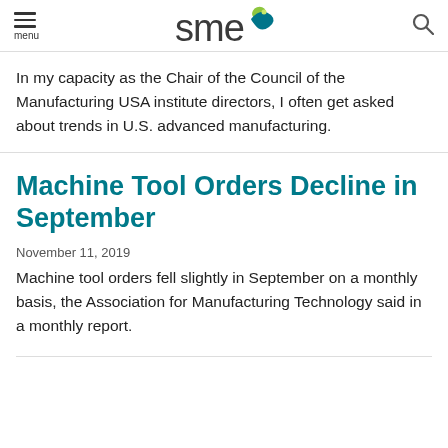menu | SME logo | search
In my capacity as the Chair of the Council of the Manufacturing USA institute directors, I often get asked about trends in U.S. advanced manufacturing.
Machine Tool Orders Decline in September
November 11, 2019
Machine tool orders fell slightly in September on a monthly basis, the Association for Manufacturing Technology said in a monthly report.